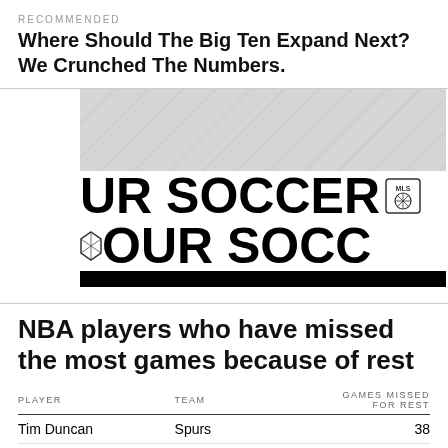RECOMMENDED
Where Should The Big Ten Expand Next? We Crunched The Numbers.
[Figure (photo): MLS soccer banner image showing 'YOUR SOCCER' text in bold white on black background, with MLS logo badge, partially cropped]
NBA players who have missed the most games because of rest
| PLAYER | TEAM | GAMES MISSED FOR REST |
| --- | --- | --- |
| Tim Duncan | Spurs | 38 |
| Manu Ginobili | Spurs | 36 |